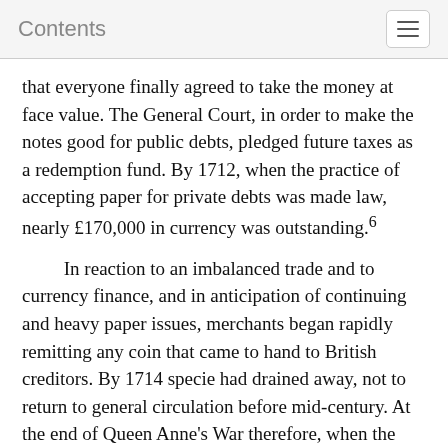Contents
that everyone finally agreed to take the money at face value. The General Court, in order to make the notes good for public debts, pledged future taxes as a redemption fund. By 1712, when the practice of accepting paper for private debts was made law, nearly £170,000 in currency was outstanding.6
In reaction to an imbalanced trade and to currency finance, and in anticipation of continuing and heavy paper issues, merchants began rapidly remitting any coin that came to hand to British creditors. By 1714 specie had drained away, not to return to general circulation before mid-century. At the end of Queen Anne's War therefore, when the Bay Colony struck an additional £100,000 in currency, the de facto convertibility of silver coin broke down. Silver soared in price, undermining views that paper merely replaced coin swept off in sterling debt payments and causing